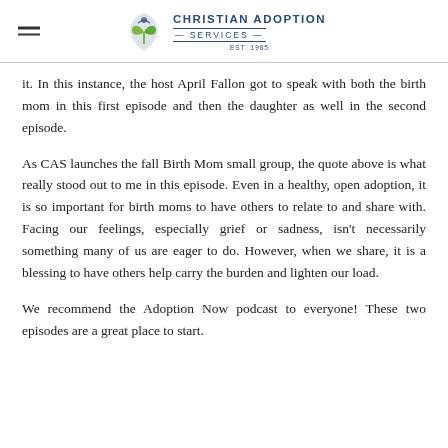Christian Adoption Services EST. 1985
it. In this instance, the host April Fallon got to speak with both the birth mom in this first episode and then the daughter as well in the second episode.
As CAS launches the fall Birth Mom small group, the quote above is what really stood out to me in this episode. Even in a healthy, open adoption, it is so important for birth moms to have others to relate to and share with. Facing our feelings, especially grief or sadness, isn't necessarily something many of us are eager to do. However, when we share, it is a blessing to have others help carry the burden and lighten our load.
We recommend the Adoption Now podcast to everyone! These two episodes are a great place to start.